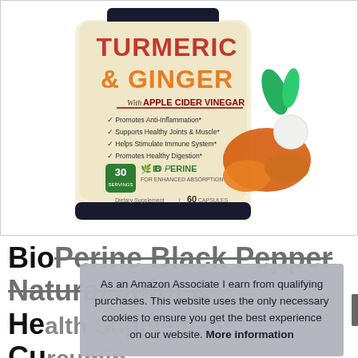[Figure (photo): Product bottle of Turmeric & Ginger with Apple Cider Vinegar dietary supplement, showing BioPerine for enhanced absorption, 60 capsules, with turmeric root and apple imagery]
BioPerine Black Pepper Natural Joint & Health Supplement, Curcumin Supplements, Made in USA, Natures...
As an Amazon Associate I earn from qualifying purchases. This website uses the only necessary cookies to ensure you get the best experience on our website. More information